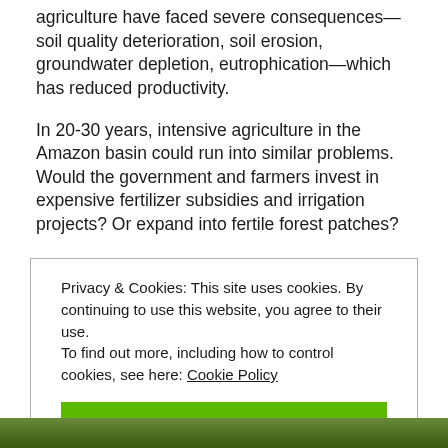agriculture have faced severe consequences—soil quality deterioration, soil erosion, groundwater depletion, eutrophication—which has reduced productivity.
In 20-30 years, intensive agriculture in the Amazon basin could run into similar problems. Would the government and farmers invest in expensive fertilizer subsidies and irrigation projects? Or expand into fertile forest patches?
Privacy & Cookies: This site uses cookies. By continuing to use this website, you agree to their use.
To find out more, including how to control cookies, see here: Cookie Policy

CLOSE AND ACCEPT
[Figure (photo): Aerial or ground-level photograph of agricultural fields, green vegetation visible at bottom of page]